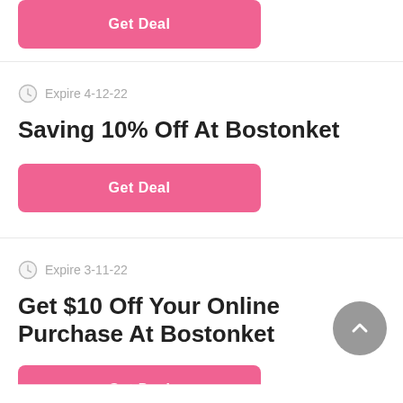[Figure (other): Pink Get Deal button at top of page (partially visible)]
Expire 4-12-22
Saving 10% Off At Bostonket
[Figure (other): Pink Get Deal button]
Expire 3-11-22
Get $10 Off Your Online Purchase At Bostonket
[Figure (other): Pink Get Deal button (partially visible at bottom)]
[Figure (other): Gray circular scroll-to-top button with upward chevron]